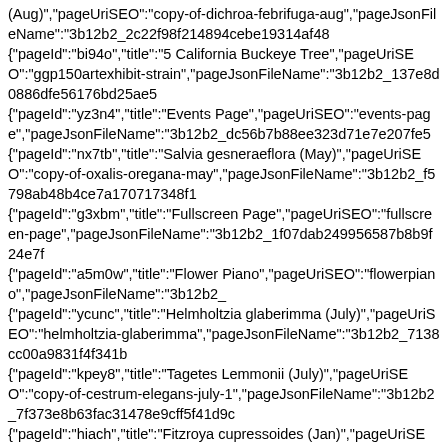(Aug)","pageUriSEO":"copy-of-dichroa-febrifuga-aug","pageJsonFileName":"3b12b2_2c22f98f214894cebe19314af48 {"pageId":"bi94o","title":"5 California Buckeye Tree","pageUriSEO":"ggp150artexhibit-strain","pageJsonFileName":"3b12b2_137e8d0886dfe56176bd25ae5 {"pageId":"yz3n4","title":"Events Page","pageUriSEO":"events-page","pageJsonFileName":"3b12b2_dc56b7b88ee323d71e7e207fe5 {"pageId":"nx7tb","title":"Salvia gesneraeflora (May)","pageUriSEO":"copy-of-oxalis-oregana-may","pageJsonFileName":"3b12b2_f5798ab48b4ce7a170717348f1 {"pageId":"g3xbm","title":"Fullscreen Page","pageUriSEO":"fullscreen-page","pageJsonFileName":"3b12b2_1f07dab249956587b8b9f24e7f {"pageId":"a5m0w","title":"Flower Piano","pageUriSEO":"flowerpiano","pageJsonFileName":"3b12b2_ {"pageId":"ycunc","title":"Helmholtzia glaberimma (July)","pageUriSEO":"helmholtzia-glaberimma","pageJsonFileName":"3b12b2_7138cc00a9831f4f341b {"pageId":"kpey8","title":"Tagetes Lemmonii (July)","pageUriSEO":"copy-of-cestrum-elegans-july-1","pageJsonFileName":"3b12b2_7f373e8b63fac31478e9cff5f41d9c {"pageId":"hiach","title":"Fitzroya cupressoides (Jan)","pageUriSEO":"copy-of-aloe-arborescens-jan","pageJsonFileName":"3b12b2_6db72c65d14a684c506cd5293ac {"pageId":"eylr7","title":"Member Flower Piano